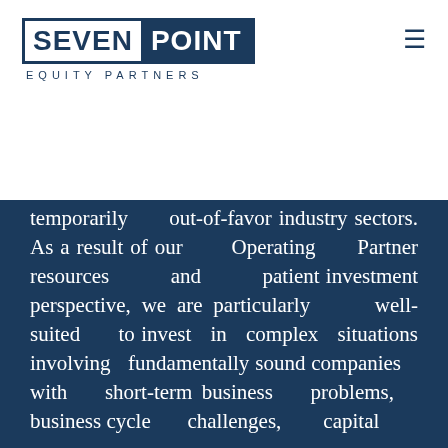[Figure (logo): Seven Point Equity Partners logo — 'SEVEN' in white on white background with navy border, 'POINT' in white on navy background, with 'EQUITY PARTNERS' in spaced navy letters below]
temporarily out-of-favor industry sectors. As a result of our Operating Partner resources and patient investment perspective, we are particularly well-suited to invest in complex situations involving fundamentally sound companies with short-term business problems, business cycle challenges, capital